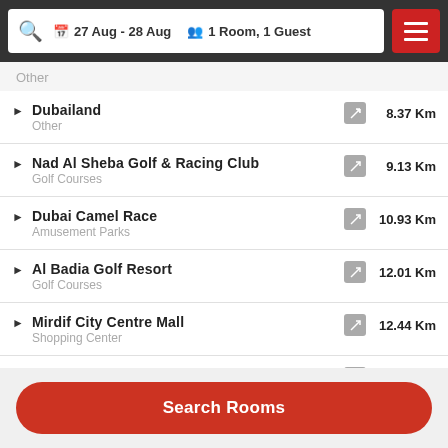27 Aug - 28 Aug  |  1 Room, 1 Guest
Dubailand
Other
8.37 Km
Nad Al Sheba Golf & Racing Club
Golf Courses
9.13 Km
Dubai Camel Race
Amusement Parks
10.93 Km
Al Badia Golf Resort
Golf Courses
12.01 Km
Mirdif City Centre Mall
Shopping Center
12.44 Km
Arabian Ranches Golf Club
Golf Courses
12.52 Km
Search Rooms